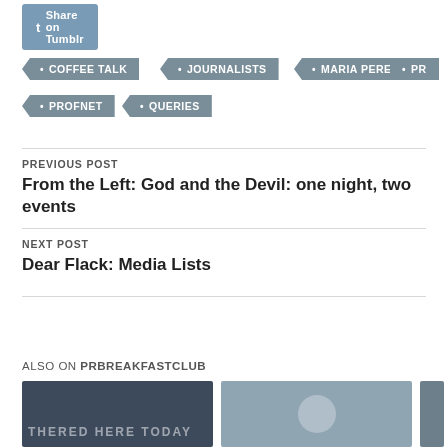[Figure (other): Share on Tumblr button with icon]
COFFEE TALK
JOURNALISTS
MARIA PEREZ
PR
PROFNET
QUERIES
PREVIOUS POST
From the Left: God and the Devil: one night, two events
NEXT POST
Dear Flack: Media Lists
ALSO ON PRBREAKFASTCLUB
[Figure (photo): Thumbnail image 1: dark blue background with partial text 'THERED HERE TODAY']
[Figure (photo): Thumbnail image 2: grey background with avatar silhouette]
[Figure (photo): Thumbnail image 3: dark grey partial thumbnail]